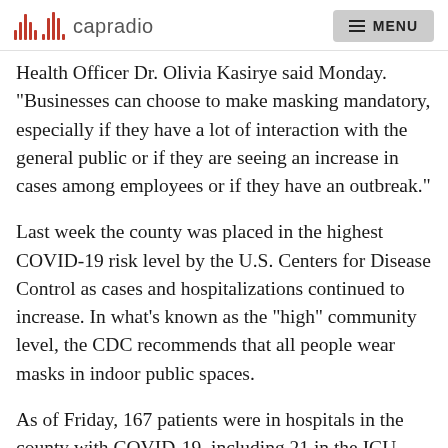capradio  MENU
Health Officer Dr. Olivia Kasirye said Monday. "Businesses can choose to make masking mandatory, especially if they have a lot of interaction with the general public or if they are seeing an increase in cases among employees or if they have an outbreak."
Last week the county was placed in the highest COVID-19 risk level by the U.S. Centers for Disease Control as cases and hospitalizations continued to increase. In what's known as the "high" community level, the CDC recommends that all people wear masks in indoor public spaces.
As of Friday, 167 patients were in hospitals in the county with COVID-19, including 21 in the ICU.